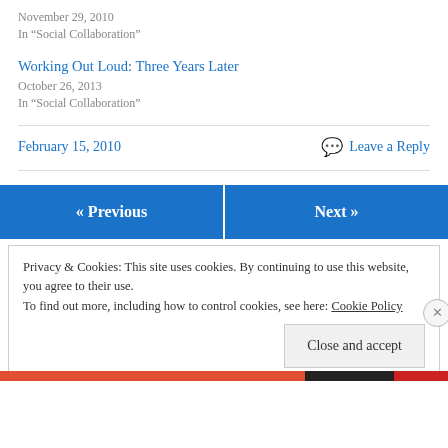November 29, 2010
In "Social Collaboration"
Working Out Loud: Three Years Later
October 26, 2013
In "Social Collaboration"
February 15, 2010
Leave a Reply
« Previous
Next »
Privacy & Cookies: This site uses cookies. By continuing to use this website, you agree to their use.
To find out more, including how to control cookies, see here: Cookie Policy
Close and accept